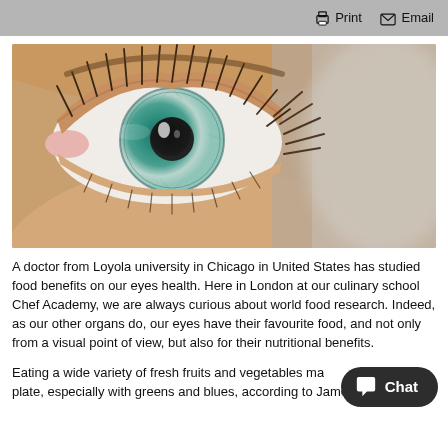Print  Email
[Figure (photo): Close-up macro photograph of a human eye with blue-green iris, dark pupil, and brown eyelashes. Skin tones visible around the eye.]
A doctor from Loyola university in Chicago in United States has studied food benefits on our eyes health. Here in London at our culinary school Chef Academy, we are always curious about world food research. Indeed, as our other organs do, our eyes have their favourite food, and not only from a visual point of view, but also for their nutritional benefits.
Eating a wide variety of fresh fruits and vegetables ma... plate, especially with greens and blues, according to James...